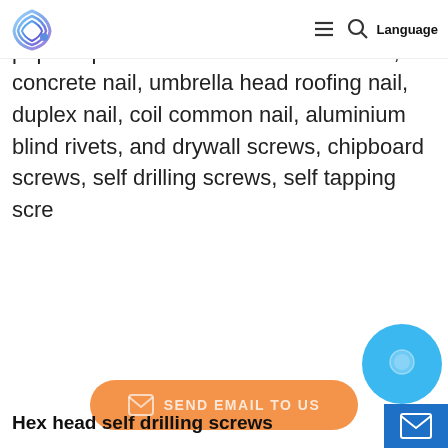Language
the new star in fastener industry. Our popular products inc: common wire nail, concrete nail, umbrella head roofing nail, duplex nail, coil common nail, aluminium blind rivets, and drywall screws, chipboard screws, self drilling screws, self tapping scre
[Figure (other): Orange rounded button with mail icon and text SEND EMAIL TO US]
Hex head self drilling screws
[Figure (other): Blue circle chat widget and blue email button widget in bottom right corner]